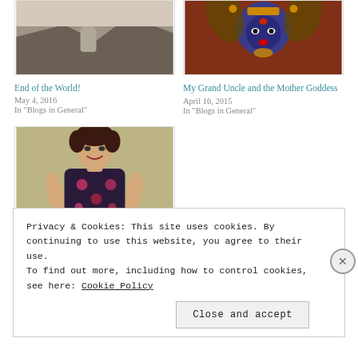[Figure (photo): Blog card image - statue or sculpture on rocks, top portion visible]
End of the World!
May 4, 2016
In "Blogs in General"
[Figure (photo): Blog card image - Goddess Kali illustration with blue face and ornate headdress]
My Grand Uncle and the Mother Goddess
April 16, 2015
In "Blogs in General"
[Figure (photo): Blog card image - woman in floral dress smiling, brown hair]
After Kangana's Coffee
Privacy & Cookies: This site uses cookies. By continuing to use this website, you agree to their use.
To find out more, including how to control cookies, see here: Cookie Policy
Close and accept